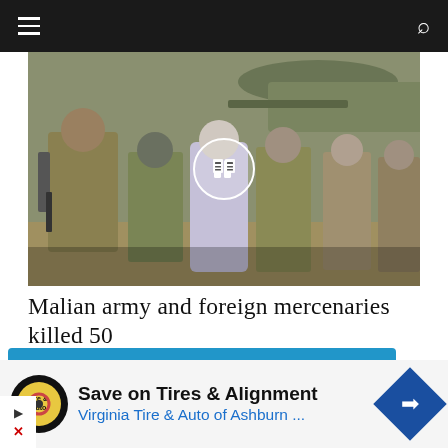Navigation menu bar with hamburger icon and search icon
[Figure (photo): Group of soldiers and military personnel in camouflage uniforms, some holding weapons, standing in front of a helicopter. One person in the center wears a white/light purple robe and mask. Image has a play/video icon overlay in the center.]
Malian army and foreign mercenaries killed 50
This website uses cookies to ensure you get the experience on our website. Learn more
Save on Tires & Alignment
Virginia Tire & Auto of Ashburn ...